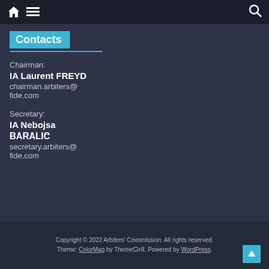Navigation bar with home icon, menu icon, and search icon
Contacts
[Figure (logo): FIDE chess knight logo with text FIDE GENS UNA SUMUS]
Chairman:
IA Laurent FREYD
chairman.arbiters@fide.com
Secretary:
IA Nebojsa BARALIC
secretary.arbiters@fide.com
Copyright © 2022 Arbiters' Commission. All rights reserved. Theme: ColorMag by ThemeGrill. Powered by WordPress.